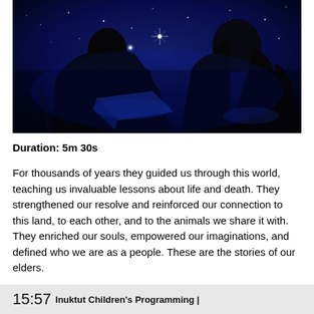[Figure (illustration): Two silhouetted figures against a deep blue starry night sky background, dark silhouettes with glowing eyes, one figure holding a stick or rod, illuminated blue geometric shapes in foreground]
Duration: 5m 30s
For thousands of years they guided us through this world, teaching us invaluable lessons about life and death. They strengthened our resolve and reinforced our connection to this land, to each other, and to the animals we share it with. They enriched our souls, empowered our imaginations, and defined who we are as a people. These are the stories of our elders.
15:57 Inuktut Children's Programming |